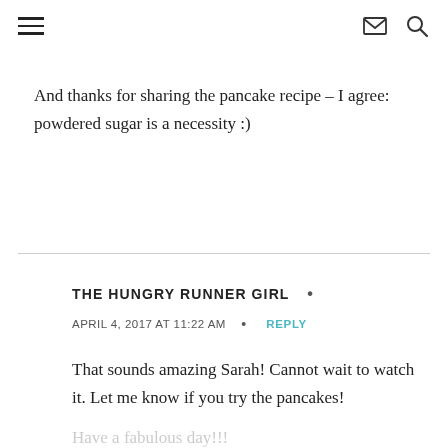≡  ✉ 🔍
And thanks for sharing the pancake recipe – I agree: powdered sugar is a necessity :)
THE HUNGRY RUNNER GIRL •
APRIL 4, 2017 AT 11:22 AM  •  REPLY
That sounds amazing Sarah! Cannot wait to watch it. Let me know if you try the pancakes!
Have a fabulous day!!!